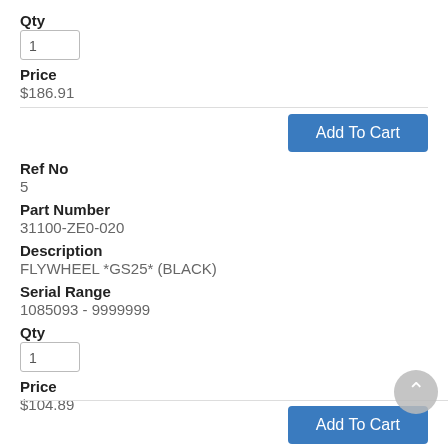Qty
1
Price
$186.91
Add To Cart
Ref No
5
Part Number
31100-ZE0-020
Description
FLYWHEEL *GS25* (BLACK)
Serial Range
1085093 - 9999999
Qty
1
Price
$104.89
Add To Cart